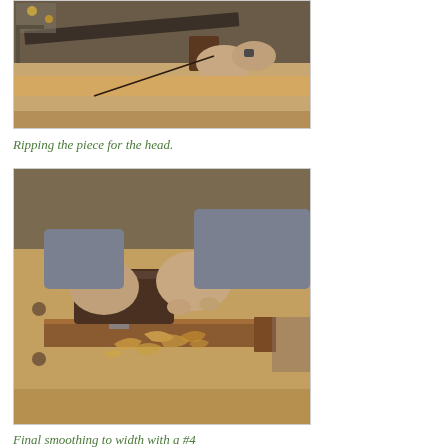[Figure (photo): Person using a hand saw to rip a piece of wood on a workbench. A marking gauge and other woodworking tools are visible on the bench.]
Ripping the piece for the head.
[Figure (photo): Person using a hand plane to smooth a narrow piece of wood clamped on a workbench. Wood shavings are visible on the bench surface.]
Final smoothing to width with a #4